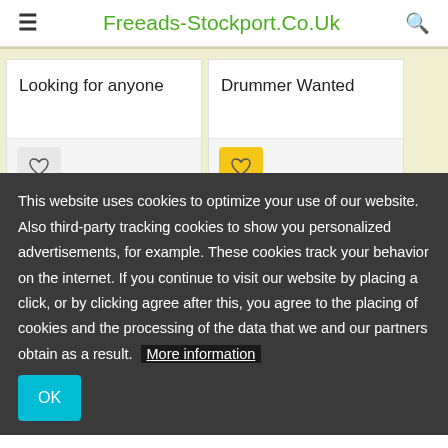Freeads-Stockport.Co.Uk
Looking for anyone
Drummer Wanted
This website uses cookies to optimize your use of our website. Also third-party tracking cookies to show you personalized advertisements, for example. These cookies track your behavior on the internet. If you continue to visit our website by placing a click, or by clicking agree after this, you agree to the placing of cookies and the processing of the data that we and our partners obtain as a result. More information